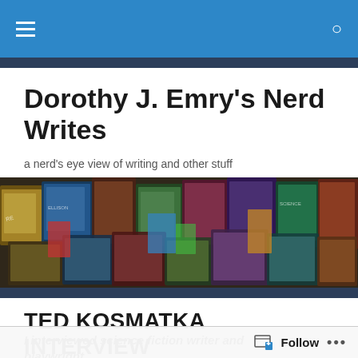Navigation bar with hamburger menu and search icon
Dorothy J. Emry's Nerd Writes
a nerd's eye view of writing and other stuff
[Figure (photo): A colorful collage of various science fiction and fantasy book covers spread out together]
TED KOSMATKA INTERVIEW
I interviewed science fiction writer and playwright
Follow ···